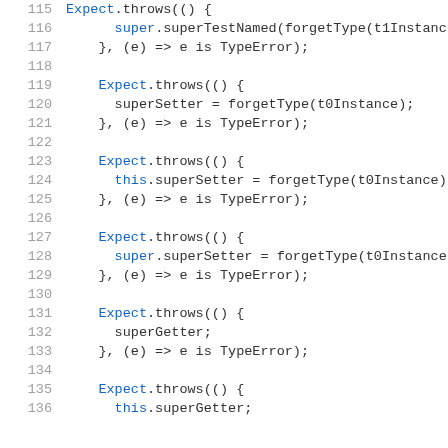[Figure (screenshot): Source code snippet showing lines 115-136 of a Dart/TypeScript test file. Lines show multiple Expect.throws() blocks testing TypeError conditions for superSetter and superGetter assignments with forgetType() calls.]